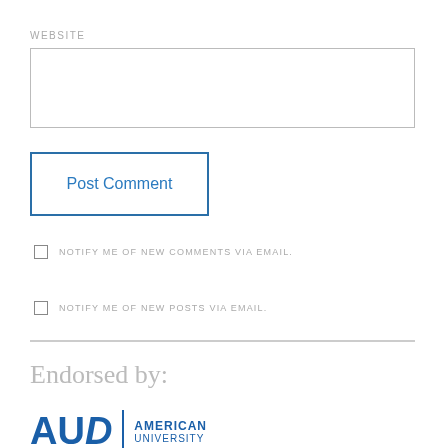WEBSITE
Post Comment
NOTIFY ME OF NEW COMMENTS VIA EMAIL.
NOTIFY ME OF NEW POSTS VIA EMAIL.
Endorsed by:
[Figure (logo): American University Dubai (AUD) logo with large blue letters AUD and text AMERICAN UNIVERSITY to the right]